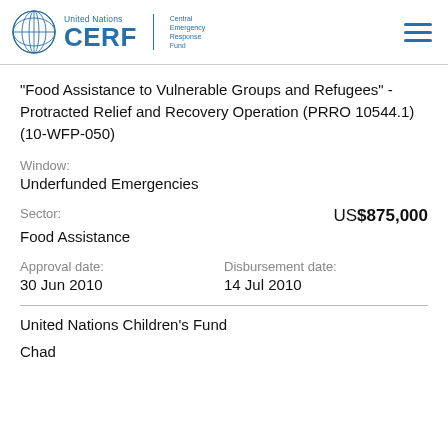United Nations CERF Central Emergency Response Fund
“Food Assistance to Vulnerable Groups and Refugees” - Protracted Relief and Recovery Operation (PRRO 10544.1) (10-WFP-050)
Window:
Underfunded Emergencies
Sector:
US$875,000
Food Assistance
Approval date:
30 Jun 2010
Disbursement date:
14 Jul 2010
United Nations Children’s Fund
Chad